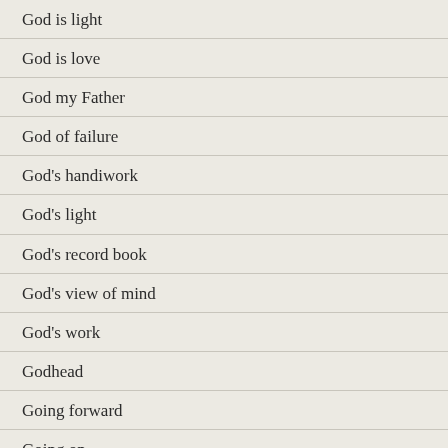God is light
God is love
God my Father
God of failure
God's handiwork
God's light
God's record book
God's view of mind
God's work
Godhead
Going forward
Going on
Gold